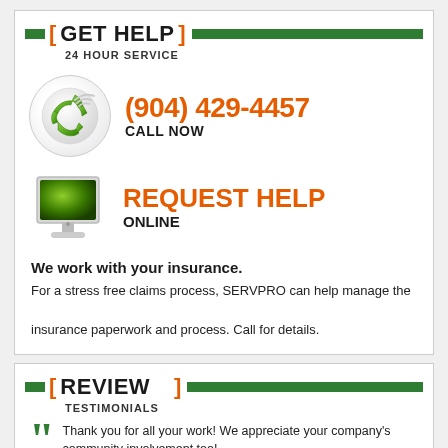[ GET HELP ]
24 HOUR SERVICE
[Figure (illustration): Green phone handset with WiFi signal waves icon in a circular frame]
(904) 429-4457
CALL NOW
[Figure (illustration): Green computer monitor icon]
REQUEST HELP
ONLINE
We work with your insurance.
For a stress free claims process, SERVPRO can help manage the insurance paperwork and process. Call for details.
[ REVIEW & ]
TESTIMONIALS
Thank you for all your work! We appreciate your company's community involvement too!